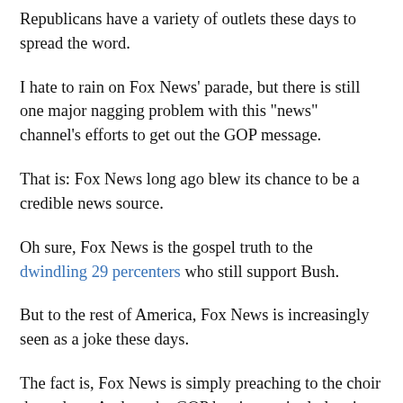Republicans have a variety of outlets these days to spread the word.
I hate to rain on Fox News' parade, but there is still one major nagging problem with this "news" channel's efforts to get out the GOP message.
That is: Fox News long ago blew its chance to be a credible news source.
Oh sure, Fox News is the gospel truth to the dwindling 29 percenters who still support Bush.
But to the rest of America, Fox News is increasingly seen as a joke these days.
The fact is, Fox News is simply preaching to the choir these days. And, as the GOP has increasingly lost its luster since 2000, it's clear that Fox is going to have a smaller and smaller choir to preach to in coming years.
Simply preaching to the choir is clearly not what Rupert